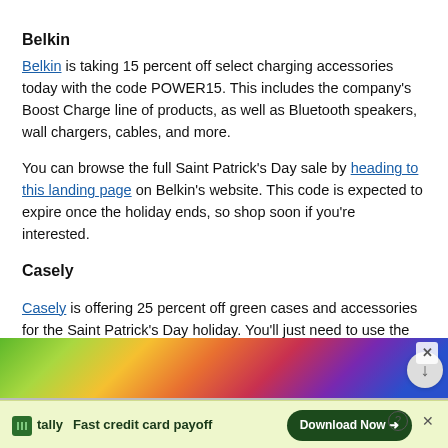Belkin
Belkin is taking 15 percent off select charging accessories today with the code POWER15. This includes the company's Boost Charge line of products, as well as Bluetooth speakers, wall chargers, cables, and more.
You can browse the full Saint Patrick's Day sale by heading to this landing page on Belkin's website. This code is expected to expire once the holiday ends, so shop soon if you're interested.
Casely
Casely is offering 25 percent off green cases and accessories for the Saint Patrick's Day holiday. You'll just need to use the code LUCKYME to see the discounts, and this will expire in three days.
[Figure (screenshot): Advertisement banner at the bottom: colorful product images on top, Tally app ad below with 'Fast credit card payoff' text and a Download Now button.]